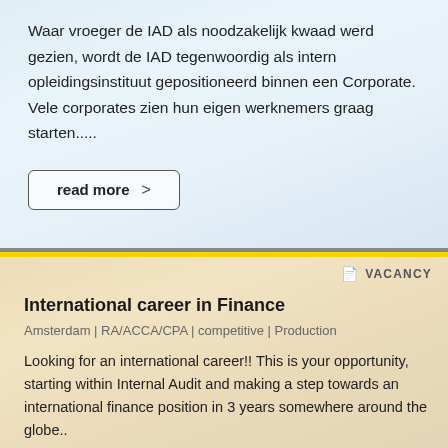Waar vroeger de IAD als noodzakelijk kwaad werd gezien, wordt de IAD tegenwoordig als intern opleidingsinstituut gepositioneerd binnen een Corporate. Vele corporates zien hun eigen werknemers graag starten.....
read more >
VACANCY
International career in Finance
Amsterdam | RA/ACCA/CPA | competitive | Production
Looking for an international career!! This is your opportunity, starting within Internal Audit and making a step towards an international finance position in 3 years somewhere around the globe..